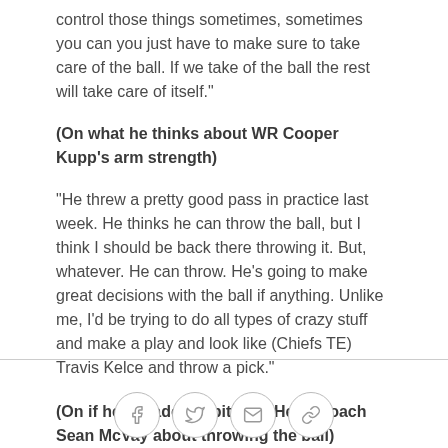control those things sometimes, sometimes you can you just have to make sure to take care of the ball. If we take of the ball the rest will take care of itself."
(On what he thinks about WR Cooper Kupp's arm strength)
"He threw a pretty good pass in practice last week. He thinks he can throw the ball, but I think I should be back there throwing it. But, whatever. He can throw. He's going to make great decisions with the ball if anything. Unlike me, I'd be trying to do all types of crazy stuff and make a play and look like (Chiefs TE) Travis Kelce and throw a pick."
(On if he's made his pitch to Head Coach Sean McVay about throwing the ball)